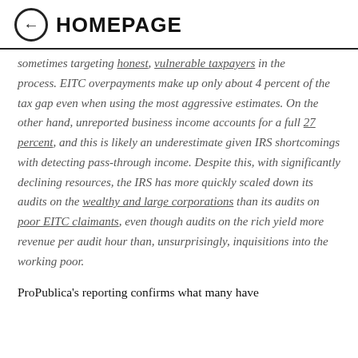HOMEPAGE
sometimes targeting honest, vulnerable taxpayers in the process. EITC overpayments make up only about 4 percent of the tax gap even when using the most aggressive estimates. On the other hand, unreported business income accounts for a full 27 percent, and this is likely an underestimate given IRS shortcomings with detecting pass-through income. Despite this, with significantly declining resources, the IRS has more quickly scaled down its audits on the wealthy and large corporations than its audits on poor EITC claimants, even though audits on the rich yield more revenue per audit hour than, unsurprisingly, inquisitions into the working poor.
ProPublica's reporting confirms what many have